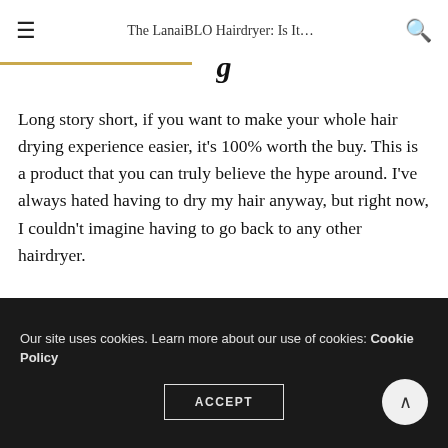The LanaiBLO Hairdryer: Is It...
Long story short, if you want to make your whole hair drying experience easier, it’s 100% worth the buy. This is a product that you can truly believe the hype around. I’ve always hated having to dry my hair anyway, but right now, I couldn’t imagine having to go back to any other hairdryer.
It easily cuts the drying time in half, leaves hair much
Our site uses cookies. Learn more about our use of cookies: Cookie Policy